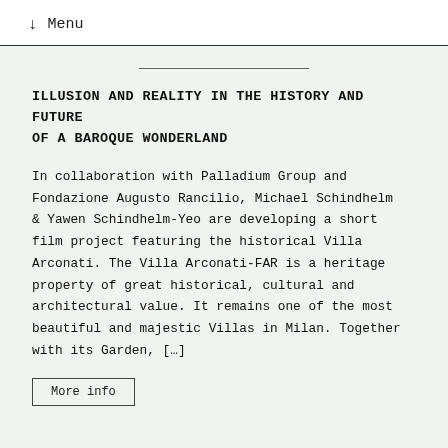↓  Menu
ILLUSION AND REALITY IN THE HISTORY AND FUTURE OF A BAROQUE WONDERLAND
In collaboration with Palladium Group and Fondazione Augusto Rancilio, Michael Schindhelm & Yawen Schindhelm-Yeo are developing a short film project featuring the historical Villa Arconati. The Villa Arconati-FAR is a heritage property of great historical, cultural and architectural value. It remains one of the most beautiful and majestic Villas in Milan. Together with its Garden, […]